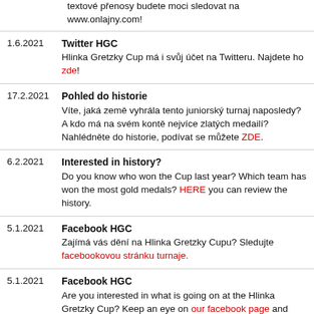textové přenosy budete moci sledovat na www.onlajny.com!
1.6.2021 Twitter HGC — Hlinka Gretzky Cup má i svůj účet na Twitteru. Najdete ho zde!
17.2.2021 Pohled do historie — Víte, jaká země vyhrála tento juniorský turnaj naposledy? A kdo má na svém kontě nejvíce zlatých medailí? Nahlédněte do historie, podívat se můžete ZDE.
6.2.2021 Interested in history? — Do you know who won the Cup last year? Which team has won the most gold medals? HERE you can review the history.
5.1.2021 Facebook HGC — Zajímá vás dění na Hlinka Gretzky Cupu? Sledujte facebookovou stránku turnaje.
5.1.2021 Facebook HGC — Are you interested in what is going on at the Hlinka Gretzky Cup? Keep an eye on our facebook page and stay up to date.